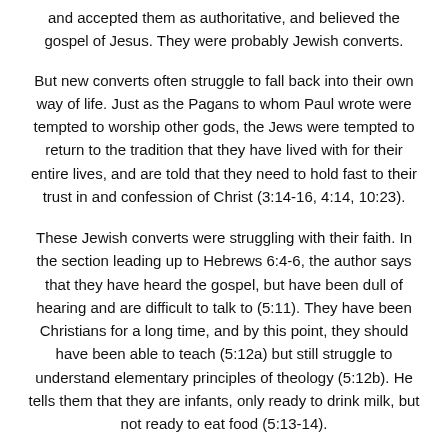and accepted them as authoritative, and believed the gospel of Jesus. They were probably Jewish converts.
But new converts often struggle to fall back into their own way of life. Just as the Pagans to whom Paul wrote were tempted to worship other gods, the Jews were tempted to return to the tradition that they have lived with for their entire lives, and are told that they need to hold fast to their trust in and confession of Christ (3:14-16, 4:14, 10:23).
These Jewish converts were struggling with their faith. In the section leading up to Hebrews 6:4-6, the author says that they have heard the gospel, but have been dull of hearing and are difficult to talk to (5:11). They have been Christians for a long time, and by this point, they should have been able to teach (5:12a) but still struggle to understand elementary principles of theology (5:12b). He tells them that they are infants, only ready to drink milk, but not ready to eat food (5:13-14).
Therefore, since you are so immature... The author says that since they are so immature, he is not going to expound on deep theological doctrine. He needs to again preach to them the